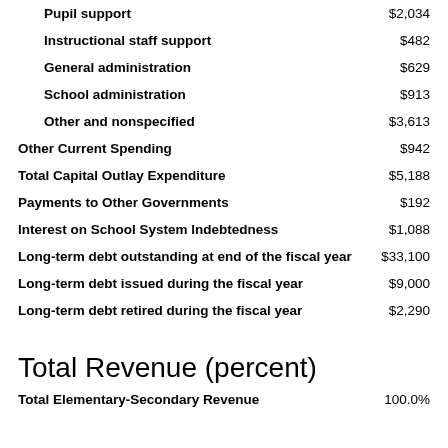Pupil support  $2,034
Instructional staff support  $482
General administration  $629
School administration  $913
Other and nonspecified  $3,613
Other Current Spending  $942
Total Capital Outlay Expenditure  $5,188
Payments to Other Governments  $192
Interest on School System Indebtedness  $1,088
Long-term debt outstanding at end of the fiscal year  $33,100
Long-term debt issued during the fiscal year  $9,000
Long-term debt retired during the fiscal year  $2,290
Total Revenue (percent)
Total Elementary-Secondary Revenue  100.0%